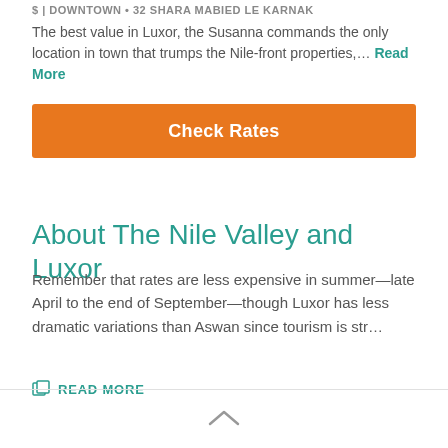$ | DOWNTOWN • 32 SHARA MABIED LE KARNAK
The best value in Luxor, the Susanna commands the only location in town that trumps the Nile-front properties,... Read More
[Figure (other): Orange 'Check Rates' button]
About The Nile Valley and Luxor
Remember that rates are less expensive in summer—late April to the end of September—though Luxor has less dramatic variations than Aswan since tourism is str...
READ MORE